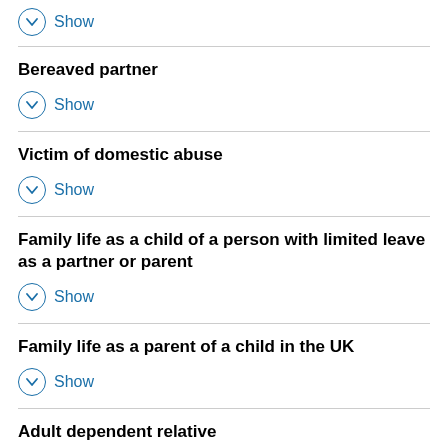Show
Bereaved partner
Show
Victim of domestic abuse
Show
Family life as a child of a person with limited leave as a partner or parent
Show
Family life as a parent of a child in the UK
Show
Adult dependent relative